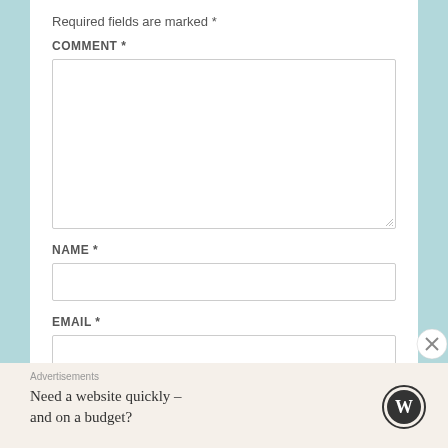Required fields are marked *
COMMENT *
[Figure (screenshot): Empty comment textarea input box]
NAME *
[Figure (screenshot): Empty name text input box]
EMAIL *
[Figure (screenshot): Partially visible empty email text input box]
Advertisements
Need a website quickly – and on a budget?